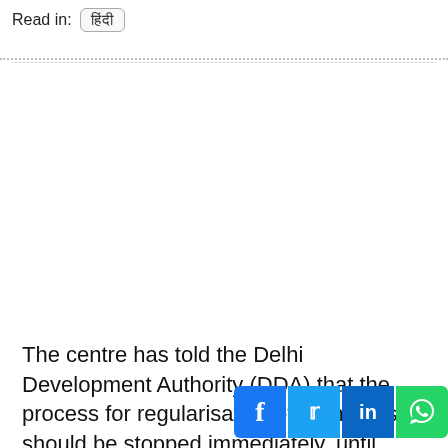Read in: हिंदी
The centre has told the Delhi Development Authority (DDA) that the process for regularisation of farm houses should be stopped immediately, until further d...